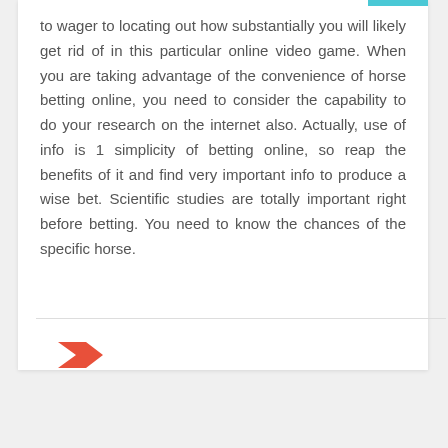to wager to locating out how substantially you will likely get rid of in this particular online video game. When you are taking advantage of the convenience of horse betting online, you need to consider the capability to do your research on the internet also. Actually, use of info is 1 simplicity of betting online, so reap the benefits of it and find very important info to produce a wise bet. Scientific studies are totally important right before betting. You need to know the chances of the specific horse.
[Figure (illustration): A red/orange tag icon (double chevron/tag shape)]